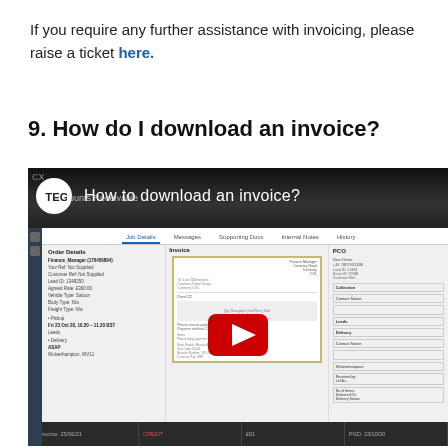If you require any further assistance with invoicing, please raise a ticket here.
9. How do I download an invoice?
[Figure (screenshot): A YouTube-style video thumbnail showing a CX Accounts Receivable interface screenshot with Order Details, Invoice (highlighted with yellow border), and PCO columns visible. A YouTube play button is overlaid on the center. The video title reads 'How to download an invoice?' with a TEG logo circle.]